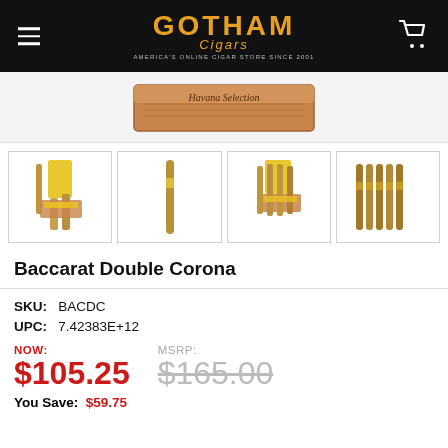Gotham Cigars — America's Online Cigar Store Since 2001
[Figure (photo): Main product image: Baccarat Double Corona cigar box with 'Havana Selection' label, wooden box visible from above]
[Figure (photo): Four thumbnail images of Baccarat Double Corona cigars: bundle with yellow packaging, single cigar, bundle display, and loose cigars]
Baccarat Double Corona
SKU: BACDC
UPC: 7.42383E+12
NOW: $105.25   MSRP: $165.00
You Save: $59.75